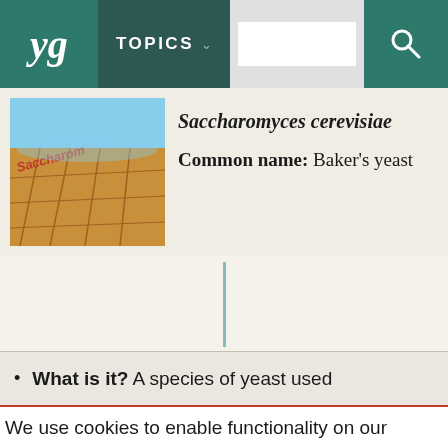yg TOPICS
[Figure (photo): Photo of Saccharomyces cerevisiae yeast colonies on agar plate, showing orange/brown culture with grid markings, blue sky visible]
Saccharomyces cerevisiae
Common name: Baker's yeast
What is it? A species of yeast used
We use cookies to enable functionality on our website and track usage. Accept essential Accept all Cookie settings